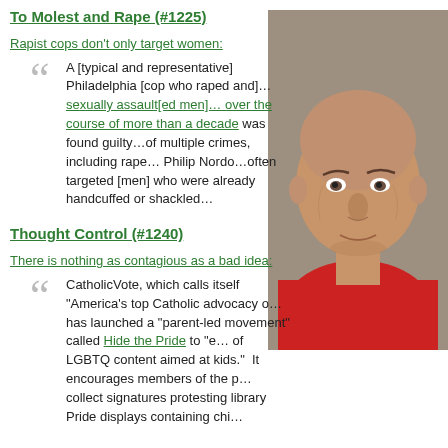To Molest and Rape (#1225)
Rapist cops don’t only target women:
A [typical and representative] Philadelphia [cop who raped and]…sexually assault[ed men]…over the course of more than a decade was found guilty…of multiple crimes, including rape…Philip Nordo…often targeted [men] who were already handcuffed or shackled…
[Figure (photo): Mug shot of a middle-aged bald man wearing a red shirt, with a gray background]
Thought Control (#1240)
There is nothing as contagious as a bad idea:
CatholicVote, which calls itself “America’s top Catholic advocacy o… has launched a “parent-led movement” called Hide the Pride to “e… of LGBTQ content aimed at kids.”  It encourages members of the p… collect signatures protesting library Pride displays containing chi…